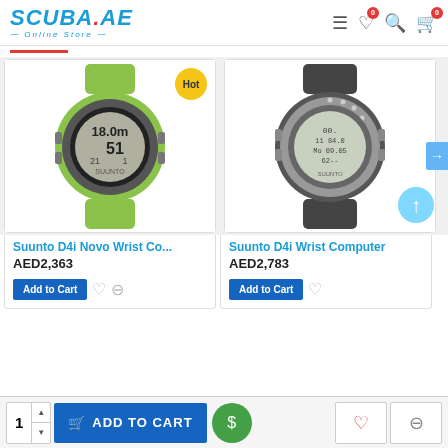SCUBA.AE Online Store — navigation header with hamburger, wishlist (0), search, cart (0)
[Figure (photo): Suunto D4i Novo Wrist Computer in green color with digital display showing 18.0m depth and 51 minutes]
Hot
Suunto D4i Novo Wrist Co...
AED2,363
Add to Cart
[Figure (photo): Suunto D4i Wrist Computer in black/grey color with digital display]
Suunto D4i Wrist Computer
AED2,783
Add to Cart
1 ADD TO CART — bottom bar with quantity selector, add to cart button, green dollar button, heart button, minus button